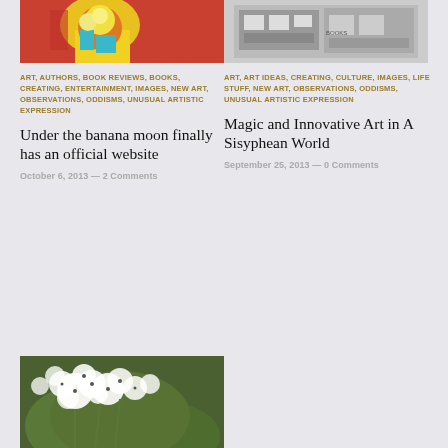[Figure (photo): Colorful pop-art style illustration with yellow and teal colors on red background, top-left thumbnail]
[Figure (photo): Black and white photo of a bookstore or shop window display, top-right thumbnail]
ART, AUTHORS, BOOK REVIEWS, BOOKS, CREATING, ENTERTAINMENT, IMAGES, NEW ART, OBSERVATIONS, ODDISMS, UNUSUAL ARTISTIC EXPRESSION
Under the banana moon finally has an official website
October 6, 2013 — 2 Comments
ART, ART IDEAS, CREATING, CULTURE, IMAGES, LIFE STUFF, NEW ART, OBSERVATIONS, ODDISMS, UNUSUAL ARTISTIC EXPRESSION
Magic and Innovative Art in A Sisyphean World
September 25, 2013 — 0 Comments
[Figure (photo): Close-up photo of white wildflowers (Queen Anne's Lace) against green background, bottom-left thumbnail]